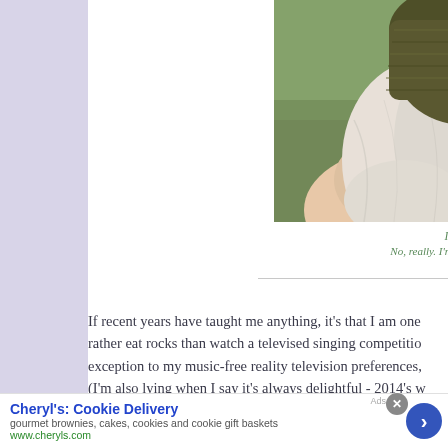[Figure (photo): Back view of a person with long light blonde/white hair wearing a dark olive/yellow knitted hat, with a blurred green background.]
I'm Lichen This Hat
No, really. I'm really, really, REA...
If recent years have taught me anything, it's that I am one who would rather eat rocks than watch a televised singing competition... exception to my music-free reality television preferences,... (I'm also lying when I say it's always delightful - 2014's w...
Cheryl's: Cookie Delivery
gourmet brownies, cakes, cookies and cookie gift baskets
www.cheryls.com